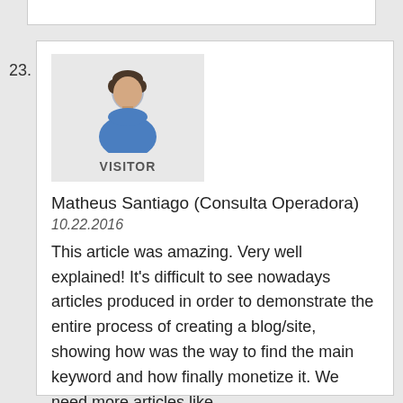23.
[Figure (illustration): Generic visitor/user avatar icon showing a person in a blue shirt, with label VISITOR below]
Matheus Santiago (Consulta Operadora)
10.22.2016
This article was amazing. Very well explained! It's difficult to see nowadays articles produced in order to demonstrate the entire process of creating a blog/site, showing how was the way to find the main keyword and how finally monetize it. We need more articles like